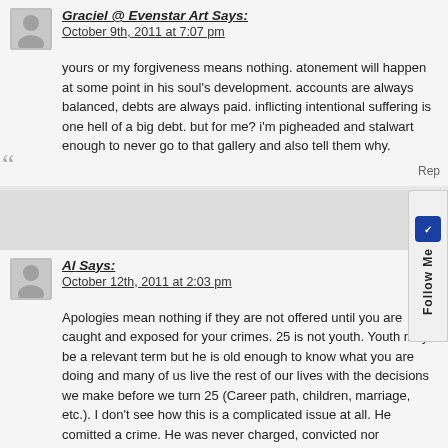Graciel @ Evenstar Art Says:
October 9th, 2011 at 7:07 pm
yours or my forgiveness means nothing. atonement will happen at some point in his soul's development. accounts are always balanced, debts are always paid. inflicting intentional suffering is one hell of a big debt. but for me? i'm pigheaded and stalwart enough to never go to that gallery and also tell them why.
Al Says:
October 12th, 2011 at 2:03 pm
Apologies mean nothing if they are not offered until you are caught and exposed for your crimes. 25 is not youth. Youth may be a relevant term but he is old enough to know what you are doing and many of us live the rest of our lives with the decisions we make before we turn 25 (Career path, children, marriage, etc.). I don't see how this is a complicated issue at all. He comitted a crime. He was never charged, convicted nor sentenced. He mas been hugely succesful yet has never offered anything more than an appology to attone for his crime. A large portion of his success comes from selling his work to publicy funded galleries and museums and his work shown in public places. Now that he has been exposed for who he is, the public has every right to say NO!